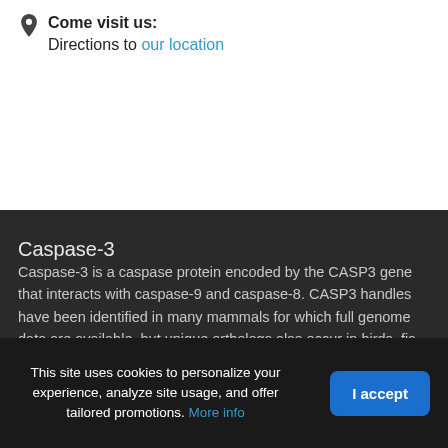Come visit us:
Directions to our location
Caspase-3
Caspase-3 is a caspase protein encoded by the CASP3 gene that interacts with caspase-9 and caspase-8. CASP3 handles have been identified in many mammals for which full genome data are available, but unique orthologs also occur in birds, fis...
This site uses cookies to personalize your experience, analyze site usage, and offer tailored promotions. More info